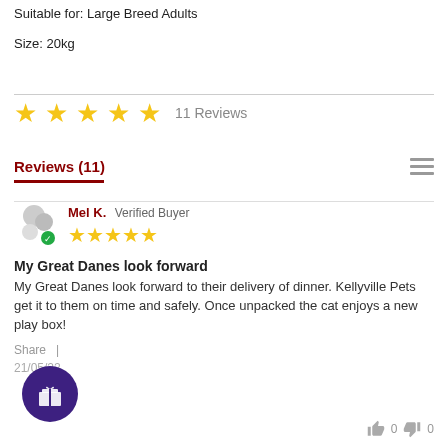Suitable for: Large Breed Adults
Size: 20kg
[Figure (other): Five gold stars rating with '11 Reviews' text]
Reviews (11)
Mel K.  Verified Buyer
[Figure (other): Five gold stars reviewer rating]
My Great Danes look forward
My Great Danes look forward to their delivery of dinner. Kellyville Pets get it to them on time and safely. Once unpacked the cat enjoys a new play box!
Share  |
21/05/22